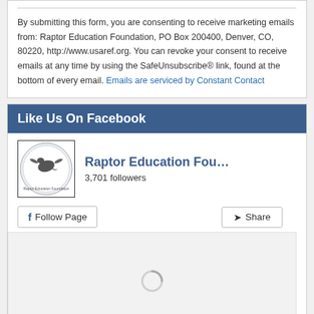By submitting this form, you are consenting to receive marketing emails from: Raptor Education Foundation, PO Box 200400, Denver, CO, 80220, http://www.usaref.org. You can revoke your consent to receive emails at any time by using the SafeUnsubscribe® link, found at the bottom of every email. Emails are serviced by Constant Contact
Like Us On Facebook
[Figure (logo): Raptor Education Foundation circular logo with a bird]
Raptor Education Fou… 3,701 followers
[Figure (screenshot): Facebook widget with Follow Page and Share buttons and a loading area with spinner]